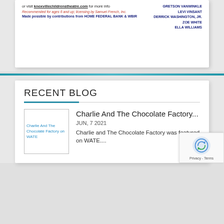or visit knoxvillechildrenstheatre.com for more info
Recommended for ages 6 and up; licensing by Samuel French, Inc.
Made possible by contributions from HOME FEDERAL BANK & WBIR
GRETSON VANWINKLE
LEVI VINSANT
DERRICK WASHINGTON, JR.
ZOE WHITE
ELLA WILLIAMS
RECENT BLOG
[Figure (photo): Image placeholder for Charlie And The Chocolate Factory on WATE]
Charlie And The Chocolate Factory...
JUN, 7 2021
Charlie and The Chocolate Factory was featured on WATE....